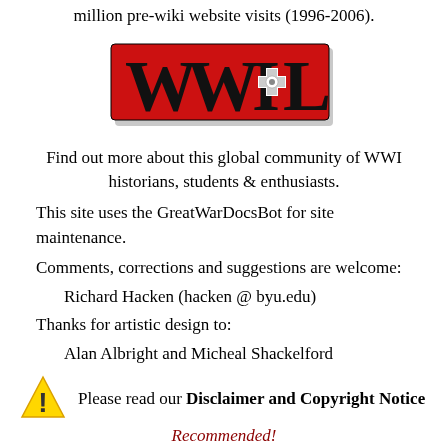million pre-wiki website visits (1996-2006).
[Figure (logo): WWI-L logo: red rectangle background with black bold letters WWI, a white iron cross symbol, and L in black gothic style]
Find out more about this global community of WWI historians, students & enthusiasts.
This site uses the GreatWarDocsBot for site maintenance.
Comments, corrections and suggestions are welcome:
Richard Hacken (hacken @ byu.edu)
Thanks for artistic design to:
Alan Albright and Micheal Shackelford
Please read our Disclaimer and Copyright Notice
Recommended!